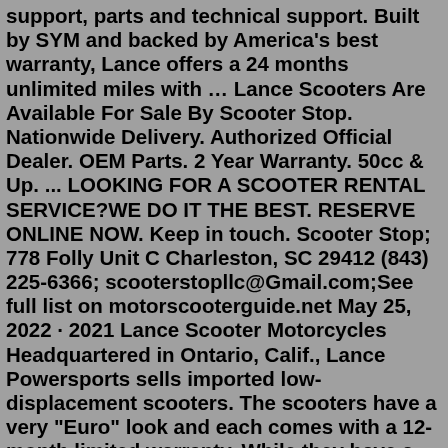support, parts and technical support. Built by SYM and backed by America's best warranty, Lance offers a 24 months unlimited miles with … Lance Scooters Are Available For Sale By Scooter Stop. Nationwide Delivery. Authorized Official Dealer. OEM Parts. 2 Year Warranty. 50cc & Up. ... LOOKING FOR A SCOOTER RENTAL SERVICE?WE DO IT THE BEST. RESERVE ONLINE NOW. Keep in touch. Scooter Stop; 778 Folly Unit C Charleston, SC 29412 (843) 225-6366; scooterstopllc@Gmail.com;See full list on motorscooterguide.net May 25, 2022 · 2021 Lance Scooter Motorcycles Headquartered in Ontario, Calif., Lance Powersports sells imported low-displacement scooters. The scooters have a very "Euro" look and each comes with a 12-month limited warranty. While they have a nice spectrum of scooters to choose from, I'm personally a fan of electronic fuel injection, and only the 200i models have it. All of Lance's scooters are 4-stroke. So plenty of looks and engine sizes, but I know plenty of die-hard 2-stroke fans that would not be a fan of Lance for this alone!